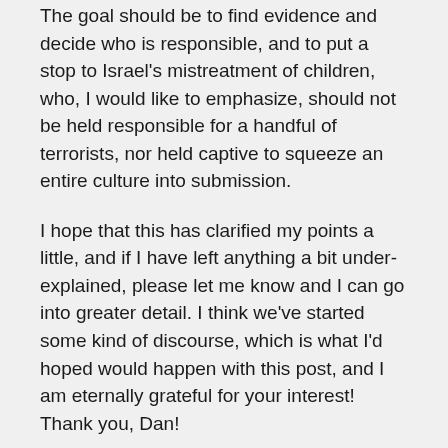The goal should be to find evidence and decide who is responsible, and to put a stop to Israel's mistreatment of children, who, I would like to emphasize, should not be held responsible for a handful of terrorists, nor held captive to squeeze an entire culture into submission.
I hope that this has clarified my points a little, and if I have left anything a bit under-explained, please let me know and I can go into greater detail. I think we've started some kind of discourse, which is what I'd hoped would happen with this post, and I am eternally grateful for your interest! Thank you, Dan!
D